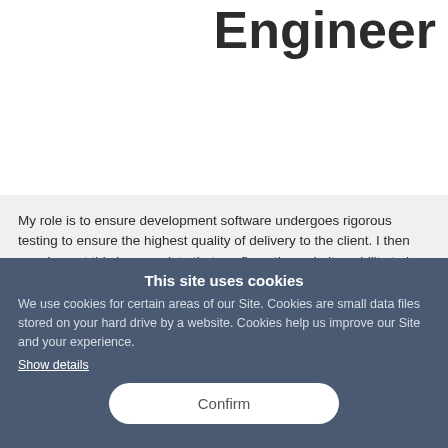Engineer
My role is to ensure development software undergoes rigorous testing to ensure the highest quality of delivery to the client. I then supplement this by providing scripts that confirms the websites ability to be maintained.
Prior to joining the Fourier site and various roles entailed helping to deliver a number of key business solutions for a major retail bank and for a leading software company.
This site uses cookies
We use cookies for certain areas of our Site. Cookies are small data files stored on your hard drive by a website. Cookies help us improve our Site and your experience.
Show details
Confirm